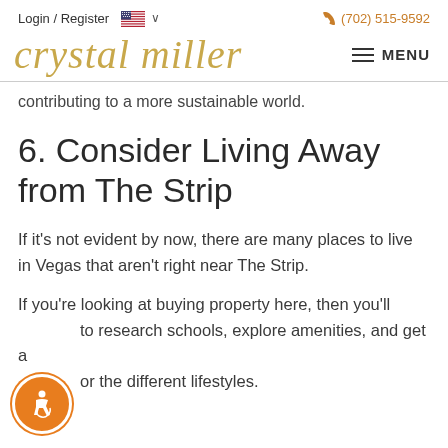Login / Register   🇺🇸 ∨    (702) 515-9592
[Figure (logo): Crystal Miller script logo in gold/tan italic handwriting style]
contributing to a more sustainable world.
6. Consider Living Away from The Strip
If it's not evident by now, there are many places to live in Vegas that aren't right near The Strip.
If you're looking at buying property here, then you'll want to research schools, explore amenities, and get a feel for the different lifestyles.
[Figure (illustration): Orange circle accessibility icon button in bottom left corner showing wheelchair user symbol]